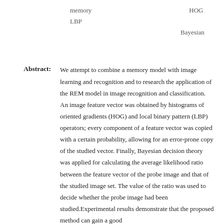memory　　　　　　　　　　　　　　　HOG　　　　LBP　　　　　　　　　　　　　　　　　　　　　　　　　　　　　　　　Bayesian
Abstract: We attempt to combine a memory model with image learning and recognition and to research the application of the REM model in image recognition and classification. An image feature vector was obtained by histograms of oriented gradients (HOG) and local binary pattern (LBP) operators; every component of a feature vector was copied with a certain probability, allowing for an error-prone copy of the studied vector. Finally, Bayesian decision theory was applied for calculating the average likelihood ratio between the feature vector of the probe image and that of the studied image set. The value of the ratio was used to decide whether the probe image had been studied.Experimental results demonstrate that the proposed method can gain a good